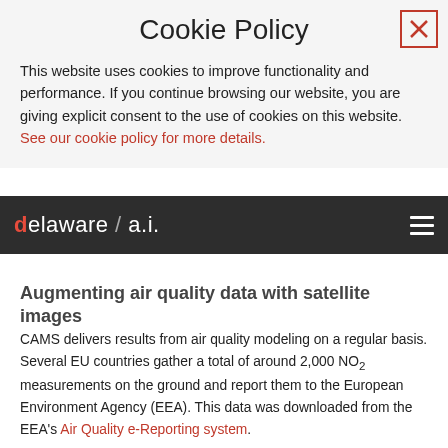Cookie Policy
This website uses cookies to improve functionality and performance. If you continue browsing our website, you are giving explicit consent to the use of cookies on this website. See our cookie policy for more details.
[Figure (logo): delaware/a.i. logo on dark navigation bar with hamburger menu icon]
Augmenting air quality data with satellite images
CAMS delivers results from air quality modeling on a regular basis. Several EU countries gather a total of around 2,000 NO2 measurements on the ground and report them to the European Environment Agency (EEA). This data was downloaded from the EEA's Air Quality e-Reporting system.
Theontinous stream of information and reporting...